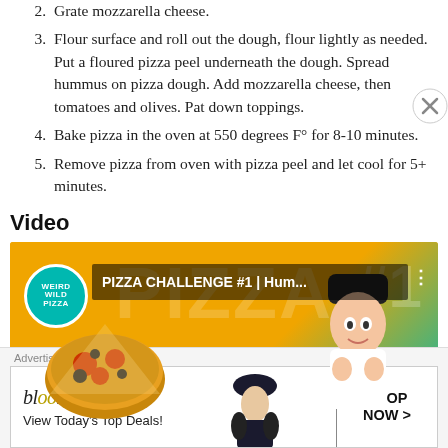2. Grate mozzarella cheese.
3. Flour surface and roll out the dough, flour lightly as needed. Put a floured pizza peel underneath the dough. Spread hummus on pizza dough. Add mozzarella cheese, then tomatoes and olives. Pat down toppings.
4. Bake pizza in the oven at 550 degrees F° for 8-10 minutes.
5. Remove pizza from oven with pizza peel and let cool for 5+ minutes.
Video
[Figure (screenshot): YouTube video thumbnail for 'PIZZA CHALLENGE #1 | Hum...' from Weird Wild Pizza channel, showing a pizza and a person in a chef hat on an orange and teal background.]
Advertisements
[Figure (screenshot): Bloomingdale's advertisement banner reading 'bloomingdales View Today's Top Deals!' with a woman in a hat and a 'SHOP NOW >' button.]